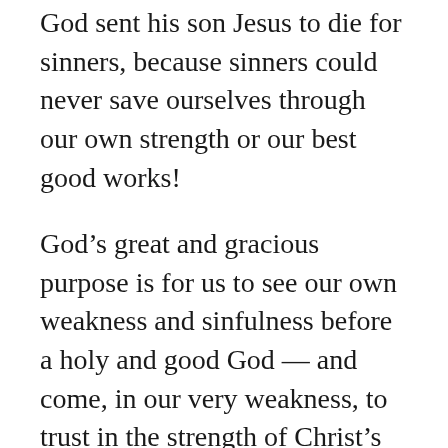God sent his son Jesus to die for sinners, because sinners could never save ourselves through our own strength or our best good works!
God’s great and gracious purpose is for us to see our own weakness and sinfulness before a holy and good God — and come, in our very weakness, to trust in the strength of Christ’s work on the cross, on our behalf.
God shows his strength in our weaknesses!
Think about that next time you feel